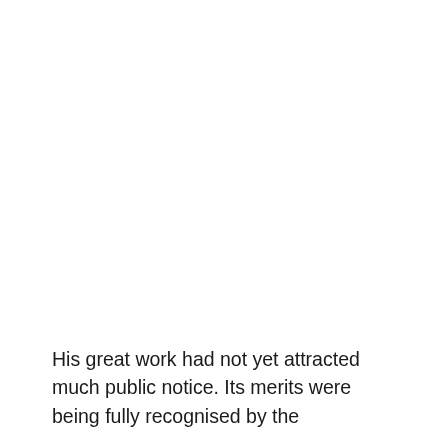His great work had not yet attracted much public notice. Its merits were being fully recognised by the